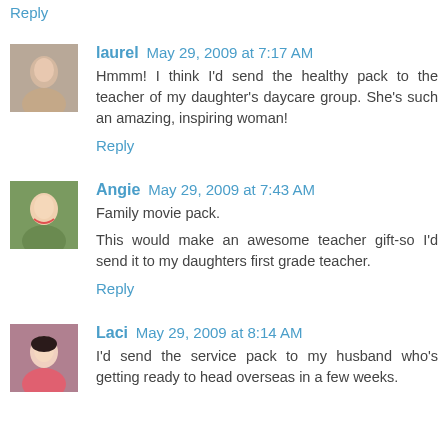Reply
laurel May 29, 2009 at 7:17 AM
Hmmm! I think I'd send the healthy pack to the teacher of my daughter's daycare group. She's such an amazing, inspiring woman!
Reply
Angie May 29, 2009 at 7:43 AM
Family movie pack.
This would make an awesome teacher gift-so I'd send it to my daughters first grade teacher.
Reply
Laci May 29, 2009 at 8:14 AM
I'd send the service pack to my husband who's getting ready to head overseas in a few weeks.